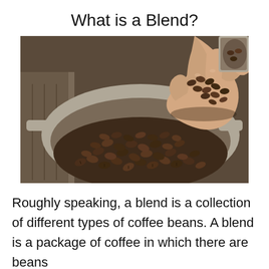What is a Blend?
[Figure (photo): A hand holding roasted coffee beans over a large bowl or pan filled with coffee beans, on a rustic metal tray surface.]
Roughly speaking, a blend is a collection of different types of coffee beans. A blend is a package of coffee in which there are beans